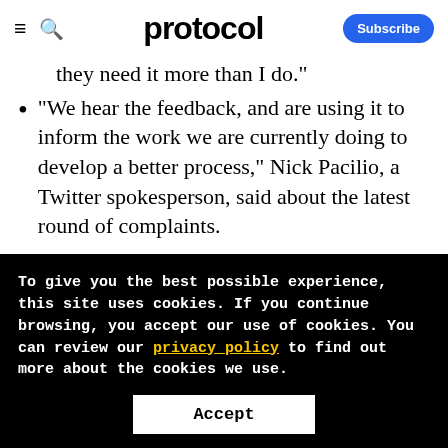protocol | Subscribe
they need it more than I do."
"We hear the feedback, and are using it to inform the work we are currently doing to develop a better process," Nick Pacilio, a Twitter spokesperson, said about the latest round of complaints.
The question of respect and self-protection
To give you the best possible experience, this site uses cookies. If you continue browsing, you accept our use of cookies. You can review our privacy policy to find out more about the cookies we use. Accept